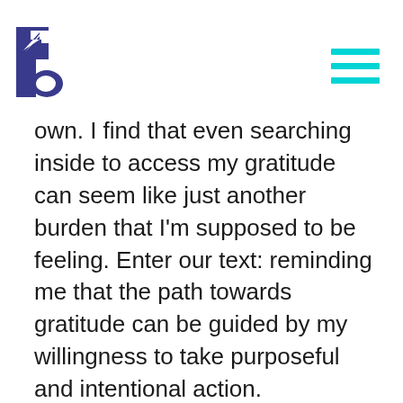[Logo: stylized 'b' with arrow, purple/blue] [Hamburger menu icon, teal]
own. I find that even searching inside to access my gratitude can seem like just another burden that I'm supposed to be feeling. Enter our text: reminding me that the path towards gratitude can be guided by my willingness to take purposeful and intentional action.
There have been times when it feels like the solemnity and heaviness of the High Holy Days (and spiritual work, in general) can be an obstacle to clearly knowing our place in the world. A spiritual accounting is a big